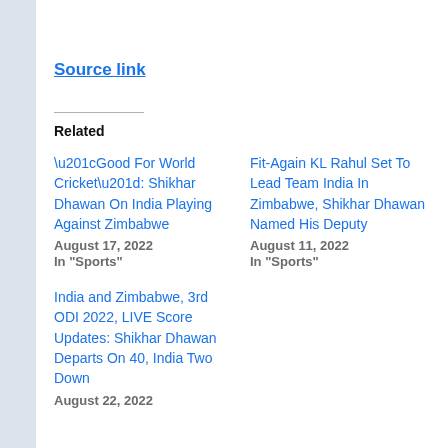Source link
Related
“Good For World Cricket”: Shikhar Dhawan On India Playing Against Zimbabwe
August 17, 2022
In “Sports”
Fit-Again KL Rahul Set To Lead Team India In Zimbabwe, Shikhar Dhawan Named His Deputy
August 11, 2022
In “Sports”
India and Zimbabwe, 3rd ODI 2022, LIVE Score Updates: Shikhar Dhawan Departs On 40, India Two Down
August 22, 2022